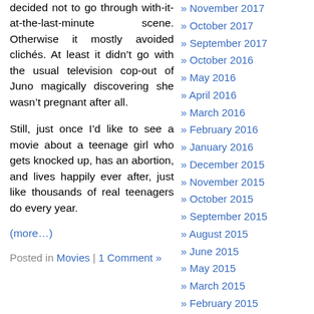decided not to go through with-it-at-the-last-minute scene. Otherwise it mostly avoided clichés. At least it didn't go with the usual television cop-out of Juno magically discovering she wasn't pregnant after all.
Still, just once I'd like to see a movie about a teenage girl who gets knocked up, has an abortion, and lives happily ever after, just like thousands of real teenagers do every year.
(more…)
Posted in Movies | 1 Comment »
» November 2017
» October 2017
» September 2017
» October 2016
» May 2016
» April 2016
» March 2016
» February 2016
» January 2016
» December 2015
» November 2015
» October 2015
» September 2015
» August 2015
» June 2015
» May 2015
» March 2015
» February 2015
» January 2015
» December 2014